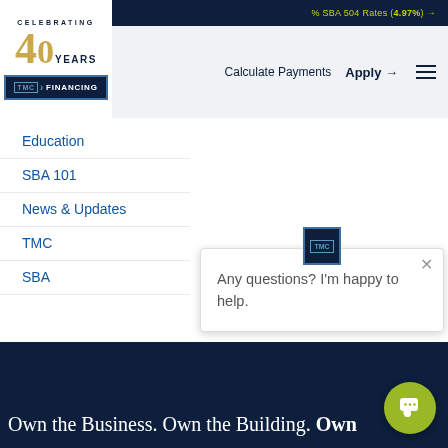% SBA 504 Rates (4.97%) →
[Figure (logo): TMC Financing logo with Celebrating 40 Years text and gold numerals]
Calculate Payments   Apply →
Education
SBA 101
News & Updates
TMC
SBA
Any questions? I'm happy to help.
Own the Business. Own the Building. Own